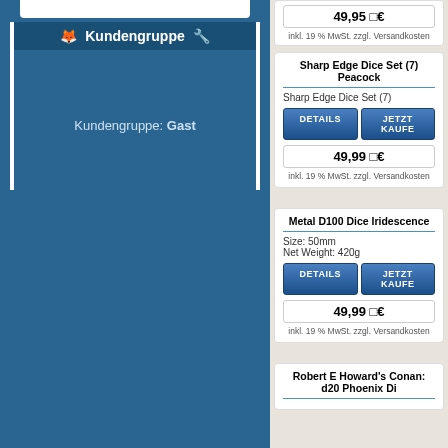Kundengruppe
Kundengruppe: Gast
49,95 €
inkl. 19 % MwSt. zzgl. Versandkosten
Sharp Edge Dice Set (7) Peacock
Sharp Edge Dice Set (7)
49,99 €
inkl. 19 % MwSt. zzgl. Versandkosten
Metal D100 Dice Iridescence
Size: 50mm
Net Weight: 420g
49,99 €
inkl. 19 % MwSt. zzgl. Versandkosten
Robert E Howard's Conan: d20 Phoenix Di